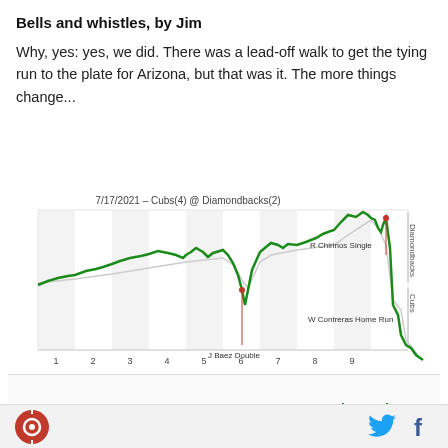Bells and whistles, by Jim
Why, yes: yes, we did. There was a lead-off walk to get the tying run to the plate for Arizona, but that was it. The more things change...
[Figure (continuous-plot): Win probability chart for 7/17/2021 – Cubs(4) @ Diamondbacks(2). Green line shows Cubs win probability across 9 innings. Key annotations: J Baez Double near inning 6, W Contreras Home Run near inning 9, R Chirinos Single near inning 8-9. Right axis labels: Diamondbacks (top), Cubs (bottom). X-axis: innings 1-9+.]
[Figure (bar-chart): Small bar chart at bottom of page showing play-by-play win probability changes as green vertical bars across the game.]